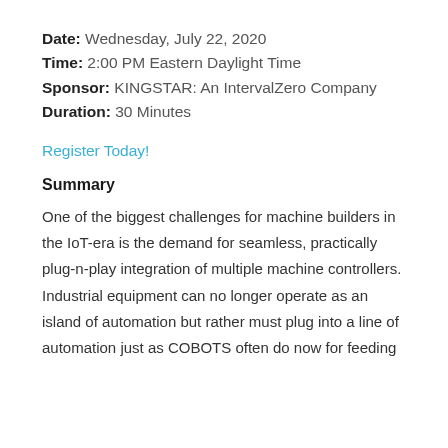Date: Wednesday, July 22, 2020
Time: 2:00 PM Eastern Daylight Time
Sponsor: KINGSTAR: An IntervalZero Company
Duration: 30 Minutes
Register Today!
Summary
One of the biggest challenges for machine builders in the IoT-era is the demand for seamless, practically plug-n-play integration of multiple machine controllers. Industrial equipment can no longer operate as an island of automation but rather must plug into a line of automation just as COBOTS often do now for feeding